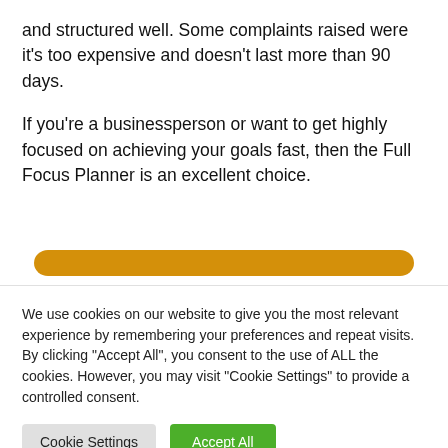and structured well. Some complaints raised were it's too expensive and doesn't last more than 90 days.
If you're a businessperson or want to get highly focused on achieving your goals fast, then the Full Focus Planner is an excellent choice.
[Figure (other): Orange rounded button/banner element, partially visible]
We use cookies on our website to give you the most relevant experience by remembering your preferences and repeat visits. By clicking "Accept All", you consent to the use of ALL the cookies. However, you may visit "Cookie Settings" to provide a controlled consent.
Cookie Settings | Accept All